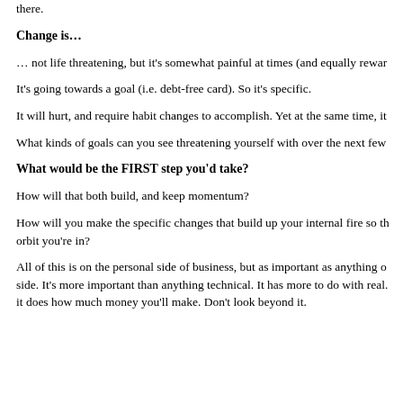there.
Change is…
… not life threatening, but it's somewhat painful at times (and equally rewarding).
It's going towards a goal (i.e. debt-free card). So it's specific.
It will hurt, and require habit changes to accomplish. Yet at the same time, it
What kinds of goals can you see threatening yourself with over the next few
What would be the FIRST step you'd take?
How will that both build, and keep momentum?
How will you make the specific changes that build up your internal fire so that you escape the orbit you're in?
All of this is on the personal side of business, but as important as anything on the technical side. It's more important than anything technical. It has more to do with real… it does how much money you'll make. Don't look beyond it.